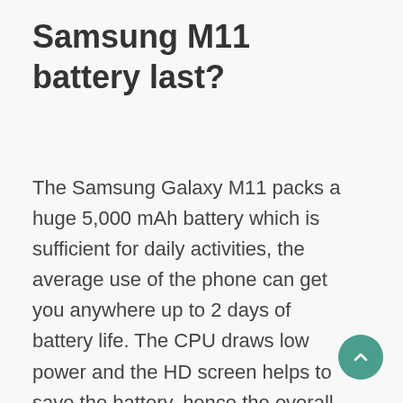Samsung M11 battery last?
The Samsung Galaxy M11 packs a huge 5,000 mAh battery which is sufficient for daily activities, the average use of the phone can get you anywhere up to 2 days of battery life. The CPU draws low power and the HD screen helps to save the battery, hence the overall battery efficiency is increased.J